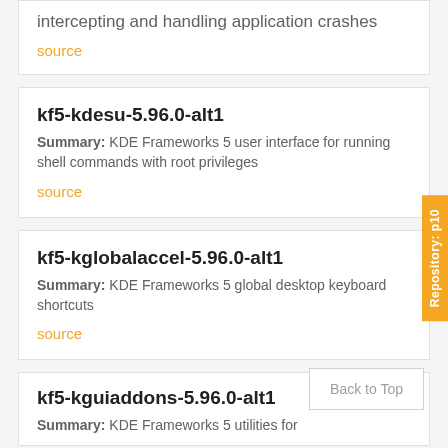intercepting and handling application crashes
source
kf5-kdesu-5.96.0-alt1
Summary: KDE Frameworks 5 user interface for running shell commands with root privileges
source
kf5-kglobalaccel-5.96.0-alt1
Summary: KDE Frameworks 5 global desktop keyboard shortcuts
source
kf5-kguiaddons-5.96.0-alt1
Summary: KDE Frameworks 5 utilities for